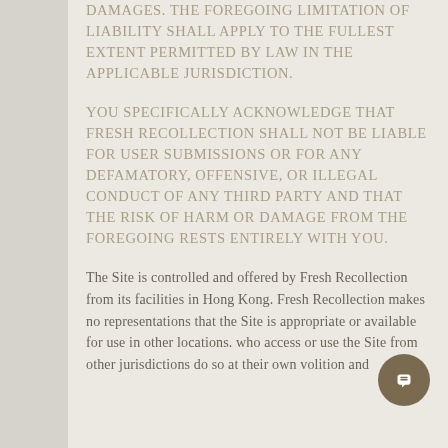DAMAGES. THE FOREGOING LIMITATION OF LIABILITY SHALL APPLY TO THE FULLEST EXTENT PERMITTED BY LAW IN THE APPLICABLE JURISDICTION.
YOU SPECIFICALLY ACKNOWLEDGE THAT FRESH RECOLLECTION SHALL NOT BE LIABLE FOR USER SUBMISSIONS OR FOR ANY DEFAMATORY, OFFENSIVE, OR ILLEGAL CONDUCT OF ANY THIRD PARTY AND THAT THE RISK OF HARM OR DAMAGE FROM THE FOREGOING RESTS ENTIRELY WITH YOU.
The Site is controlled and offered by Fresh Recollection from its facilities in Hong Kong. Fresh Recollection makes no representations that the Site is appropriate or available for use in other locations. who access or use the Site from other jurisdictions do so at their own volition and